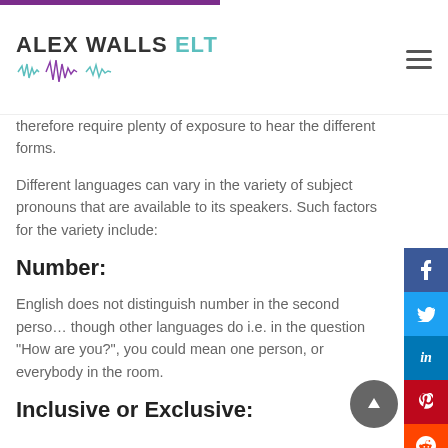ALEX WALLS ELT
therefore require plenty of exposure to hear the different forms.
Different languages can vary in the variety of subject pronouns that are available to its speakers. Such factors for the variety include:
Number:
English does not distinguish number in the second person, though other languages do i.e. in the question “How are you?”, you could mean one person, or everybody in the room.
Inclusive or Exclusive: